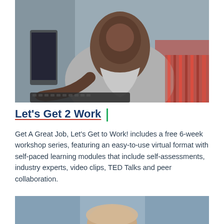[Figure (photo): A young man smiling and working at a computer keyboard in what appears to be a classroom or computer lab setting. He is wearing a grey t-shirt and leaning forward toward the camera.]
Let's Get 2 Work |
Get A Great Job, Let's Get to Work! includes a free 6-week workshop series, featuring an easy-to-use virtual format with self-paced learning modules that include self-assessments, industry experts, video clips, TED Talks and peer collaboration.
[Figure (photo): Partial view of a person, appears to be the top of someone's head, second photo cropped at bottom of page.]